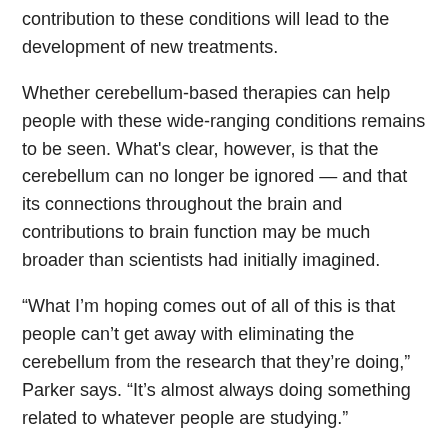contribution to these conditions will lead to the development of new treatments.
Whether cerebellum-based therapies can help people with these wide-ranging conditions remains to be seen. What's clear, however, is that the cerebellum can no longer be ignored — and that its connections throughout the brain and contributions to brain function may be much broader than scientists had initially imagined.
“What I’m hoping comes out of all of this is that people can’t get away with eliminating the cerebellum from the research that they’re doing,” Parker says. “It’s almost always doing something related to whatever people are studying.”
10.1146/knowable-093020-2
Diana Kwon is a freelance science journalist who